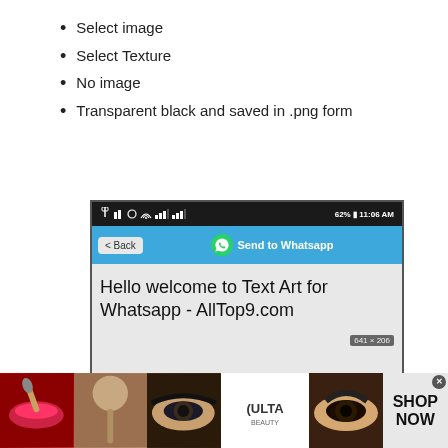Select image
Select Texture
No image
Transparent black and saved in .png form
[Figure (screenshot): Android phone screenshot showing WhatsApp Text Art app with navigation bar showing Back button and Send to Whatsapp, content area with text Hello welcome to Text Art for Whatsapp - AllTop9.com, image dimensions 641x206, and Select image button at bottom]
[Figure (photo): Advertisement banner for Ulta Beauty showing makeup photos and Shop Now button]